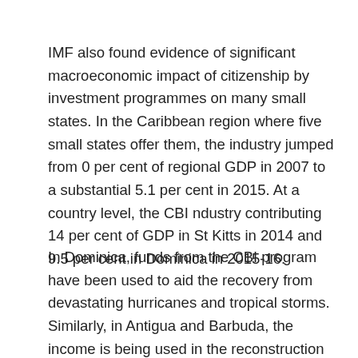IMF also found evidence of significant macroeconomic impact of citizenship by investment programmes on many small states. In the Caribbean region where five small states offer them, the industry jumped from 0 per cent of regional GDP in 2007 to a substantial 5.1 per cent in 2015. At a country level, the CBI ndustry contributing 14 per cent of GDP in St Kitts in 2014 and 9.5 per cent in Dominica in 2015-16.
In Dominica, funds from the CBI program have been used to aid the recovery from devastating hurricanes and tropical storms. Similarly, in Antigua and Barbuda, the income is being used in the reconstruction of